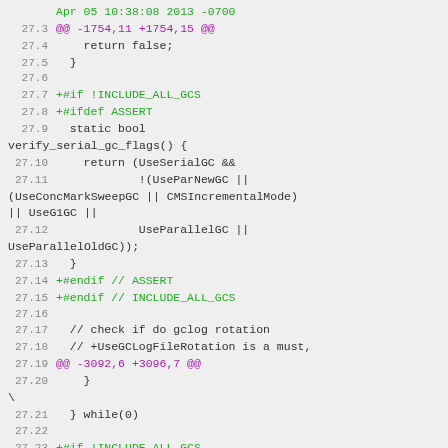[Figure (screenshot): Code diff screenshot showing git diff output with line numbers, green added lines (+#if !INCLUDE_ALL_GCS, +#ifdef ASSERT, +#endif // ASSERT, +#endif // INCLUDE_ALL_GCS, +#if !INCLUDE_ALL_GCS), purple diff range markers (@@ -1754,11 +1754,15 @@ and @@ -3092,6 +3096,7 @@), and plain code lines for static bool verify_serial_gc_flags() function and surrounding context.]